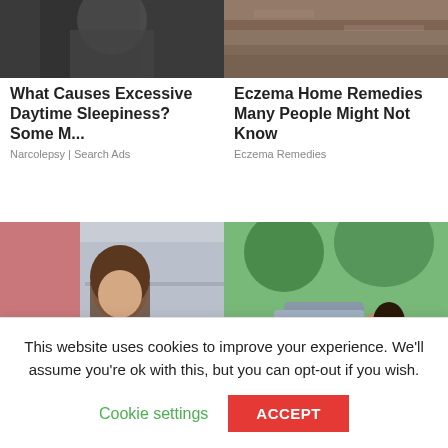[Figure (photo): Dark background photo, partially cropped at top]
What Causes Excessive Daytime Sleepiness? Some M...
Narcolepsy | Search Ads
[Figure (photo): Wood/bark texture photo, partially cropped at top]
Eczema Home Remedies Many People Might Not Know
Eczema Remedies
[Figure (photo): Woman in black business attire smiling, office background]
[Figure (photo): Two women in blue work uniforms outdoors near cars and trees]
This website uses cookies to improve your experience. We'll assume you're ok with this, but you can opt-out if you wish.
Cookie settings
ACCEPT